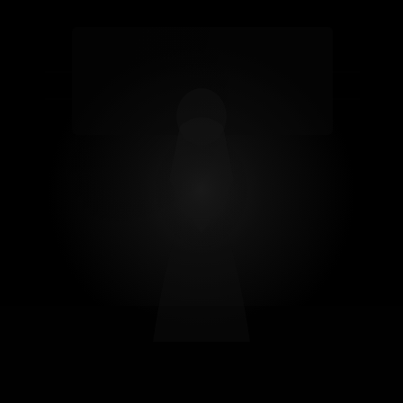[Figure (photo): A very dark, nearly black image. Faint outlines suggest a figure or object in the center of the frame, but the image is extremely underexposed with minimal visible detail. The entire image is dominated by deep black tones with subtle variations suggesting texture or depth.]